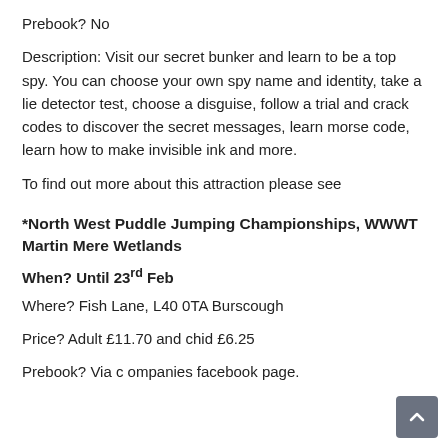Prebook? No
Description: Visit our secret bunker and learn to be a top spy. You can choose your own spy name and identity, take a lie detector test, choose a disguise, follow a trial and crack codes to discover the secret messages, learn morse code, learn how to make invisible ink and more.
To find out more about this attraction please see
*North West Puddle Jumping Championships, WWWT Martin Mere Wetlands
When? Until 23rd Feb
Where? Fish Lane, L40 0TA Burscough
Price? Adult £11.70 and chid £6.25
Prebook? Via companies facebook page.